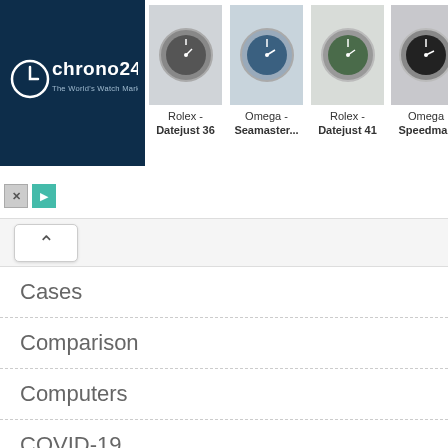[Figure (screenshot): Chrono24 advertisement banner showing watch marketplace with logo and product listings including Rolex Datejust 36, Omega Seamaster, Rolex Datejust 41, and Omega Speedmaster watches]
Cases
Comparison
Computers
COVID-19
DVRs
Encyclopedia
Features
Fitness & Health